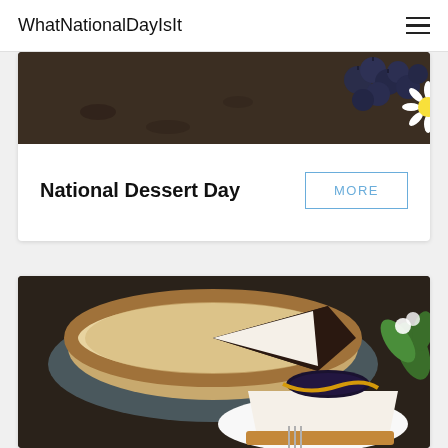WhatNationalDayIsIt
[Figure (photo): Top portion of a food photo showing blueberries and a daisy flower on a dark wooden surface]
National Dessert Day
MORE
[Figure (photo): A whole cheesecake with a slice cut out on a blue plate, and a slice of cheesecake topped with blueberry jam on a white plate with a fork, on a dark wooden surface]